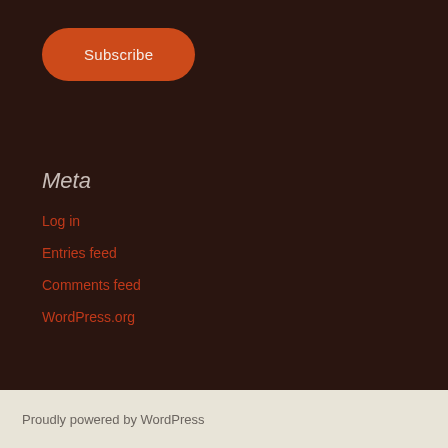Subscribe
Meta
Log in
Entries feed
Comments feed
WordPress.org
Proudly powered by WordPress